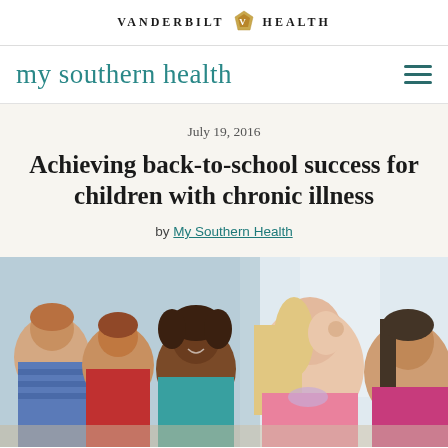VANDERBILT HEALTH
my southern health
July 19, 2016
Achieving back-to-school success for children with chronic illness
by My Southern Health
[Figure (photo): Group of elementary school children sitting in a classroom, viewed in profile, attentively looking forward. Children of diverse backgrounds including boys and girls.]